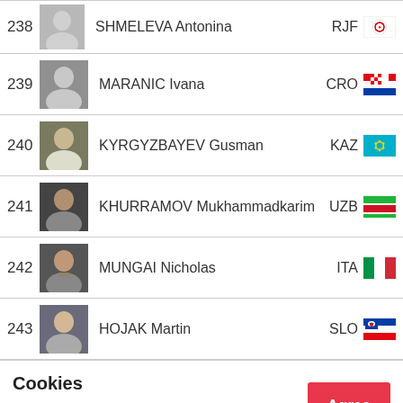| # | Photo | Name | Country |
| --- | --- | --- | --- |
| 238 |  | SHMELEVA Antonina | RJF |
| 239 |  | MARANIC Ivana | CRO |
| 240 |  | KYRGYZBAYEV Gusman | KAZ |
| 241 |  | KHURRAMOV Mukhammadkarim | UZB |
| 242 |  | MUNGAI Nicholas | ITA |
| 243 |  | HOJAK Martin | SLO |
Cookies
IJF.org is using cookies. By accepting these cookies be set. Check more information here.